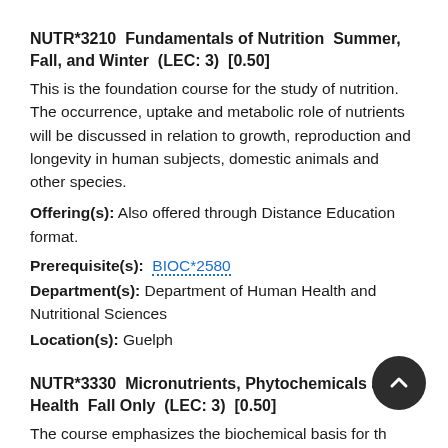NUTR*3210  Fundamentals of Nutrition  Summer, Fall, and Winter  (LEC: 3)  [0.50]
This is the foundation course for the study of nutrition. The occurrence, uptake and metabolic role of nutrients will be discussed in relation to growth, reproduction and longevity in human subjects, domestic animals and other species.
Offering(s): Also offered through Distance Education format.
Prerequisite(s): BIOC*2580
Department(s): Department of Human Health and Nutritional Sciences
Location(s): Guelph
NUTR*3330  Micronutrients, Phytochemicals and Health  Fall Only  (LEC: 3)  [0.50]
The course emphasizes the biochemical basis for the dietary essentiality of vitamins and minerals. The course